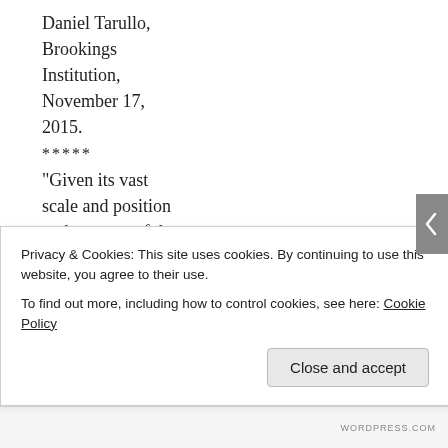Daniel Tarullo, Brookings Institution, November 17, 2015.
*****
“Given its vast scale and position at the center of the wholesale finance markets, repo is without doubt a critical activity.” — Federal Reserve Governor Jerome Powell, Clearing House Annual Conference,
Privacy & Cookies: This site uses cookies. By continuing to use this website, you agree to their use.
To find out more, including how to control cookies, see here: Cookie Policy
Close and accept
WORDPRESS.COM